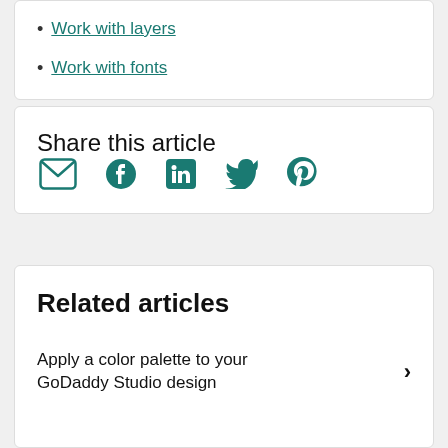Work with layers
Work with fonts
Share this article
[Figure (infographic): Social share icons: email, Facebook, LinkedIn, Twitter, Pinterest]
Related articles
Apply a color palette to your GoDaddy Studio design